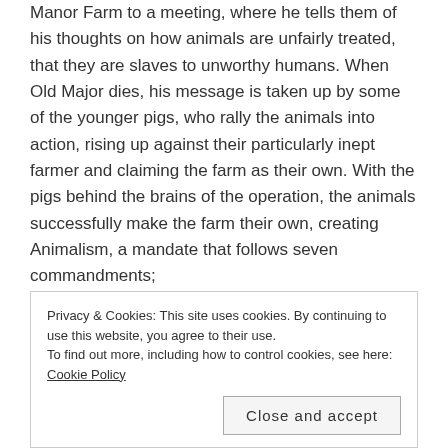Manor Farm to a meeting, where he tells them of his thoughts on how animals are unfairly treated, that they are slaves to unworthy humans. When Old Major dies, his message is taken up by some of the younger pigs, who rally the animals into action, rising up against their particularly inept farmer and claiming the farm as their own. With the pigs behind the brains of the operation, the animals successfully make the farm their own, creating Animalism, a mandate that follows seven commandments;
1. Whatever goes upon two legs is an enemy.
2. Whatever goes upon four legs, or has wings, is a friend.
Privacy & Cookies: This site uses cookies. By continuing to use this website, you agree to their use. To find out more, including how to control cookies, see here: Cookie Policy